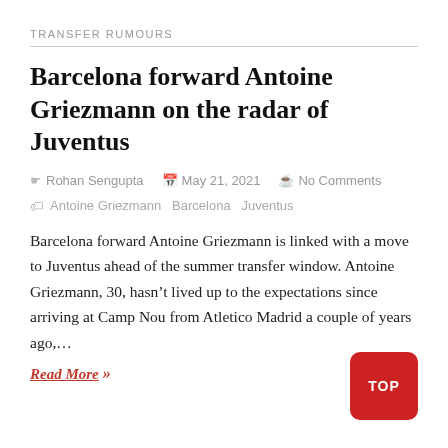TRANSFER RUMOURS
Barcelona forward Antoine Griezmann on the radar of Juventus
Rohan Sengupta   May 21, 2021   No Comments
Antoine Griezmann  Barcelona  Juventus
Barcelona forward Antoine Griezmann is linked with a move to Juventus ahead of the summer transfer window. Antoine Griezmann, 30, hasn’t lived up to the expectations since arriving at Camp Nou from Atletico Madrid a couple of years ago,…
Read More »